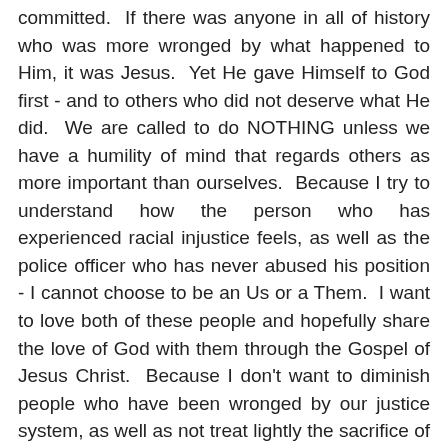committed.  If there was anyone in all of history who was more wronged by what happened to Him, it was Jesus.  Yet He gave Himself to God first - and to others who did not deserve what He did.  We are called to do NOTHING unless we have a humility of mind that regards others as more important than ourselves.  Because I try to understand how the person who has experienced racial injustice feels, as well as the police officer who has never abused his position - I cannot choose to be an Us or a Them.  I want to love both of these people and hopefully share the love of God with them through the Gospel of Jesus Christ.  Because I don't want to diminish people who have been wronged by our justice system, as well as not treat lightly the sacrifice of our soldiers - I cannot become an Us or a Them in this conflict.  Even if it costs me everything I want to do my best to walk with